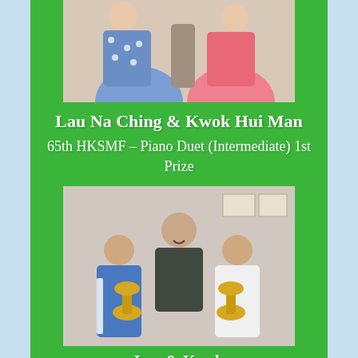[Figure (photo): Two students in colorful tops (blue polka dot and pink) posing together, upper bodies visible]
Lau Na Ching & Kwok Hui Man
65th HKSMF – Piano Duet (Intermediate) 1st Prize
[Figure (photo): Three people posing together: a teacher/adult in the center and two young students on either side, each holding a gold trophy cup]
Lau & Kwok